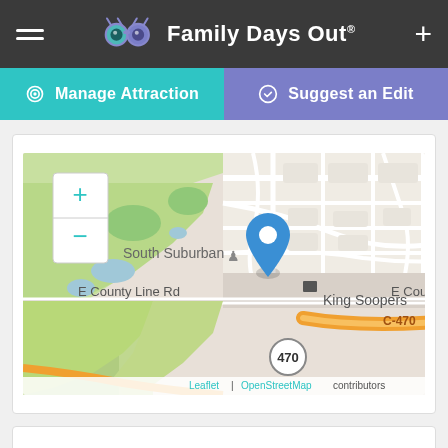Family Days Out
Manage Attraction
Suggest an Edit
[Figure (map): Street map showing South Suburban area near E County Line Rd and C-470 highway, with a blue location pin marker, King Soopers label, and zoom controls. Map attribution: Leaflet | OpenStreetMap contributors.]